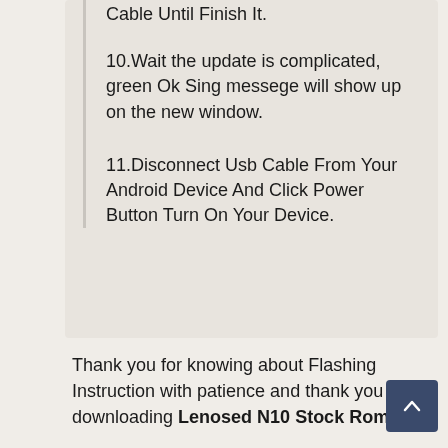Cable Until Finish It.
10.Wait the update is complicated, green Ok Sing messege will show up on the new window.
11.Disconnect Usb Cable From Your Android Device And Click Power Button Turn On Your Device.
Thank you for knowing about Flashing Instruction with patience and thank you for downloading Lenosed N10 Stock Rom.